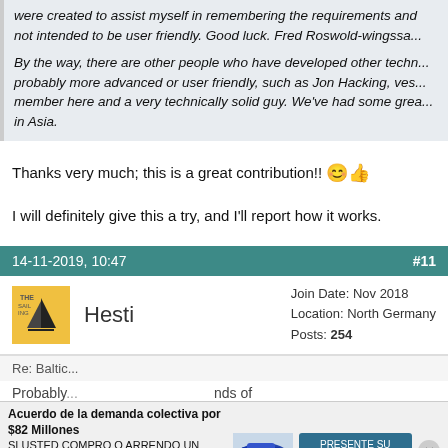were created to assist myself in remembering the requirements and not intended to be user friendly. Good luck. Fred Roswold-wingssa...
By the way, there are other people who have developed other techniques probably more advanced or user friendly, such as Jon Hacking, ves... member here and a very technically solid guy. We've had some great... in Asia.
Thanks very much; this is a great contribution!! 😊👍
I will definitely give this a try, and I'll report how it works.
14-11-2019, 10:47   #11
Hesti
Join Date: Nov 2018
Location: North Germany
Posts: 254
Re: Baltic...
Probably... nds of
Acuerdo de la demanda colectiva por $82 Millones
SI USTED COMPRO O ARRENDO UN AUTOMÓVIL O CAMION NUEVO EN CALIFORNIA DESDE 2001 A 2003
PRESENTE SU RECLAMO AHORA